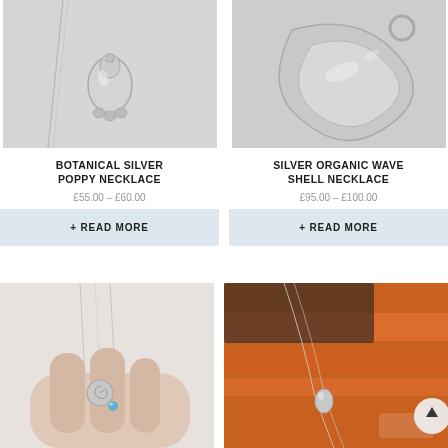[Figure (photo): Silver botanical poppy necklace pendant on chain, close-up product photo on white background]
[Figure (photo): Silver organic wave shell necklace pendant, close-up product photo on white/grey background]
BOTANICAL SILVER POPPY NECKLACE
SILVER ORGANIC WAVE SHELL NECKLACE
£55.00 – £60.00
£95.00 – £100.00
+ READ MORE
+ READ MORE
[Figure (photo): Small silver spiral shell necklace with blue gemstone held in a hand, product photo]
[Figure (photo): Silver teardrop necklace in orange gift box with ribbon, product photo with scroll-up button overlay]